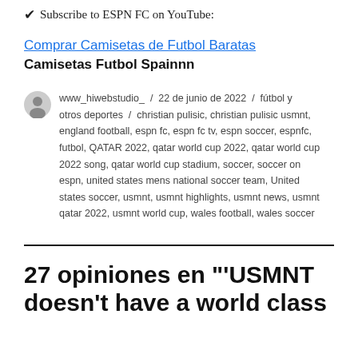✔ Subscribe to ESPN FC on YouTube:
Comprar Camisetas de Futbol Baratas
Camisetas Futbol Spainnn
www_hiwebstudio_  /  22 de junio de 2022  /  fútbol y otros deportes  /  christian pulisic, christian pulisic usmnt, england football, espn fc, espn fc tv, espn soccer, espnfc, futbol, QATAR 2022, qatar world cup 2022, qatar world cup 2022 song, qatar world cup stadium, soccer, soccer on espn, united states mens national soccer team, United states soccer, usmnt, usmnt highlights, usmnt news, usmnt qatar 2022, usmnt world cup, wales football, wales soccer
27 opiniones en "'USMNT doesn't have a world class